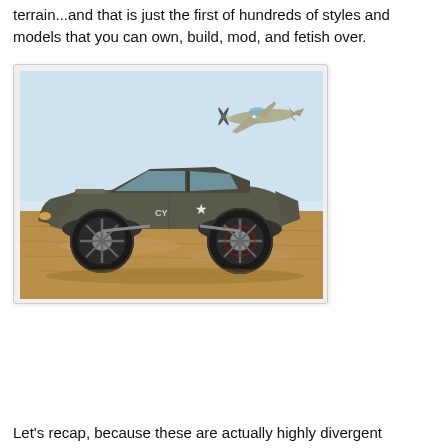terrain...and that is just the first of hundreds of styles and models that you can own, build, mod, and fetish over.
[Figure (photo): A military-style off-road vehicle (truck/buggy) with large black wheels on sandy desert terrain. A WWII-era fighter plane (P-51 Mustang style) is visible in the upper right corner of the image flying overhead. The vehicle is dark olive/gray colored with star military insignia and 'CY' markings.]
Let's recap, because these are actually highly divergent